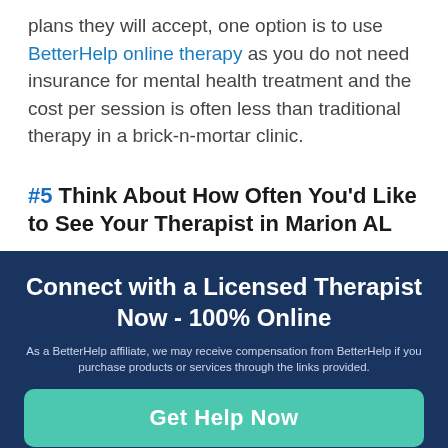plans they will accept, one option is to use BetterHelp online therapy as you do not need insurance for mental health treatment and the cost per session is often less than traditional therapy in a brick-n-mortar clinic.
#5 Think About How Often You'd Like to See Your Therapist in Marion AL
Connect with a Licensed Therapist Now - 100% Online
As a BetterHelp affiliate, we may receive compensation from BetterHelp if you purchase products or services through the links provided.
Get Help Now